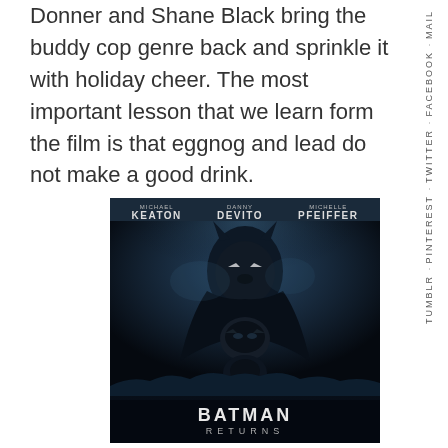Donner and Shane Black bring the buddy cop genre back and sprinkle it with holiday cheer. The most important lesson that we learn form the film is that eggnog and lead do not make a good drink.
[Figure (photo): Batman Returns movie poster featuring Michael Keaton, Danny DeVito, and Michelle Pfeiffer with the Batman Returns title at the bottom]
EMAIL · FACEBOOK · TWITTER · PINTEREST · TUMBLR